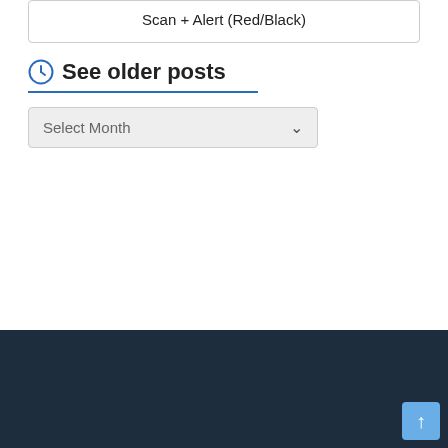Scan + Alert (Red/Black)
See older posts
Select Month
Copyright © 2022 Theme by: ThemeGrill Powered by: WordPress
Midwest Wanderer is a registered trademark of Connie S.Reed.